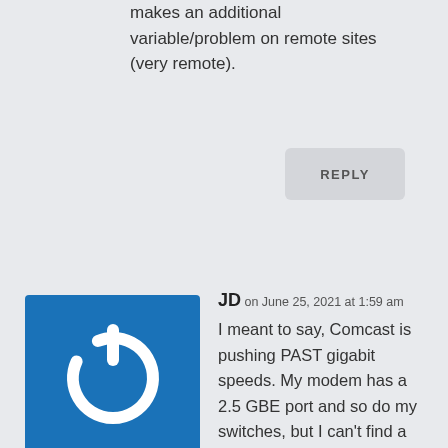makes an additional variable/problem on remote sites (very remote).
REPLY
[Figure (logo): Blue square icon with white power button symbol]
JD on June 25, 2021 at 1:59 am
I meant to say, Comcast is pushing PAST gigabit speeds. My modem has a 2.5 GBE port and so do my switches, but I can't find a relatively inexpensive router that doesn't involve converting an SFP port to ethernet and hoping it works to get a 2.5 GBE connection. New consumer routers are coming out with a single 2.5 GBE port on